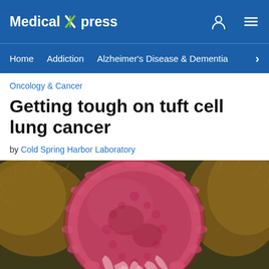Medical Xpress
Home | Addiction | Alzheimer's Disease & Dementia
Oncology & Cancer
Getting tough on tuft cell lung cancer
by Cold Spring Harbor Laboratory
[Figure (photo): Colorized scanning electron microscope image of a cancer cell, showing a large pink/red rounded cell with ruffled membrane surface surrounded by other cellular structures in brown/gold tones.]